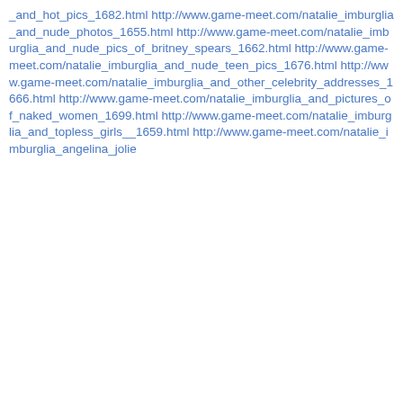_and_hot_pics_1682.html http://www.game-meet.com/natalie_imburglia_and_nude_photos_1655.html http://www.game-meet.com/natalie_imburglia_and_nude_pics_of_britney_spears_1662.html http://www.game-meet.com/natalie_imburglia_and_nude_teen_pics_1676.html http://www.game-meet.com/natalie_imburglia_and_other_celebrity_addresses_1666.html http://www.game-meet.com/natalie_imburglia_and_pictures_of_naked_women_1699.html http://www.game-meet.com/natalie_imburglia_and_topless_girls__1659.html http://www.game-meet.com/natalie_imburglia_angelina_jolie